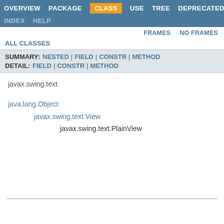OVERVIEW | PACKAGE | CLASS | USE | TREE | DEPRECATED
INDEX | HELP
FRAMES | NO FRAMES
ALL CLASSES
SUMMARY: NESTED | FIELD | CONSTR | METHOD
DETAIL: FIELD | CONSTR | METHOD
javax.swing.text
java.lang.Object
    javax.swing.text.View
        javax.swing.text.PlainView